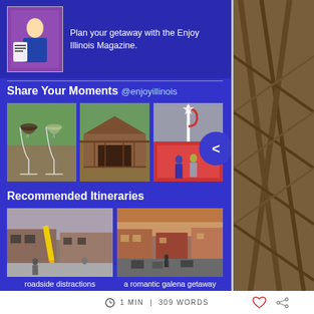[Figure (photo): Magazine cover image - Enjoy Illinois Magazine promotional image with person and brochure]
Plan your getaway with the Enjoy Illinois Magazine.
Share Your Moments @enjoyillinois
[Figure (photo): Two wine glasses on a patio with green field in background]
[Figure (photo): Covered wooden bridge with wooden railing]
[Figure (photo): People at a fair with candy cane decoration and red roofed buildings]
Recommended Itineraries
[Figure (photo): Roadside attraction - storefront with large pencil sculpture]
[Figure (photo): Romantic Galena - aerial view of town street with brick buildings]
roadside distractions
a romantic galena getaway
1 MIN | 309 WORDS